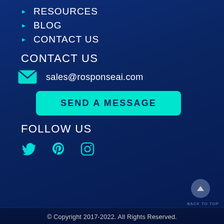RESOURCES
BLOG
CONTACT US
CONTACT US
sales@rosponseai.com
SEND A MESSAGE
FOLLOW US
[Figure (illustration): Social media icons: Twitter bird, Pinterest P, Instagram camera]
BACK TO TOP
© Copyright 2017-2022. All Rights Reserved.